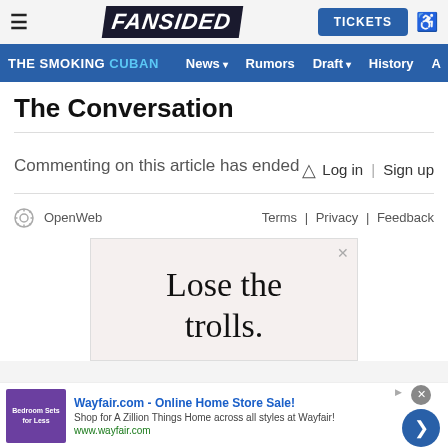≡  FANSIDED  [TICKETS] ♿
THE SMOKING CUBAN  News ▾  Rumors  Draft ▾  History  A...
The Conversation
Commenting on this article has ended
🔔  Log in | Sign up
[Figure (logo): OpenWeb logo — a circular gear/sun icon next to the text 'OpenWeb']
Terms  |  Privacy  |  Feedback
[Figure (screenshot): Advertisement box with beige/cream background displaying text 'Lose the trolls.' in large serif font, with an X close button in top right corner.]
Lose the trolls.
Wayfair.com - Online Home Store Sale!
Shop for A Zillion Things Home across all styles at Wayfair!
www.wayfair.com